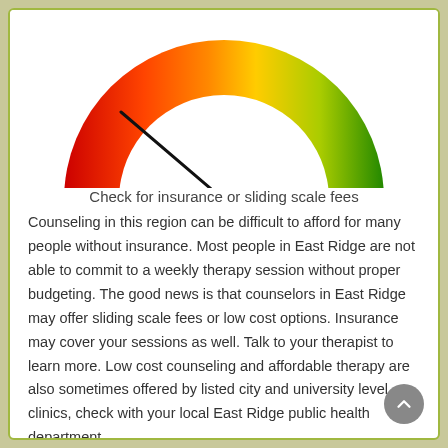[Figure (other): A semicircular gauge/meter with a gradient from red (left) to yellow (center) to green (right). A black needle points toward the red-orange zone, approximately 30% from left.]
Check for insurance or sliding scale fees
Counseling in this region can be difficult to afford for many people without insurance. Most people in East Ridge are not able to commit to a weekly therapy session without proper budgeting. The good news is that counselors in East Ridge may offer sliding scale fees or low cost options. Insurance may cover your sessions as well. Talk to your therapist to learn more. Low cost counseling and affordable therapy are also sometimes offered by listed city and university level clinics, check with your local East Ridge public health department.